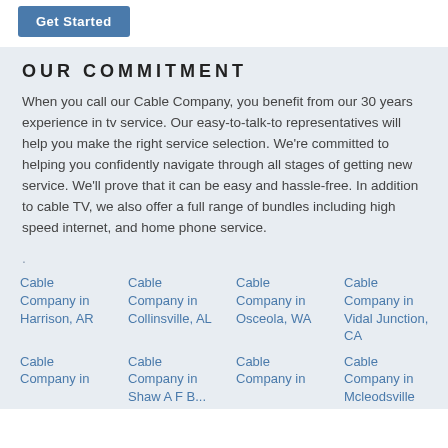[Figure (other): Get Started button — blue rounded rectangle with white text]
OUR COMMITMENT
When you call our Cable Company, you benefit from our 30 years experience in tv service. Our easy-to-talk-to representatives will help you make the right service selection. We're committed to helping you confidently navigate through all stages of getting new service. We'll prove that it can be easy and hassle-free. In addition to cable TV, we also offer a full range of bundles including high speed internet, and home phone service.
.
Cable Company in Harrison, AR
Cable Company in Collinsville, AL
Cable Company in Osceola, WA
Cable Company in Vidal Junction, CA
Cable Company in
Cable Company in Shaw A F B...
Cable Company in
Cable Company in Mcleodsville